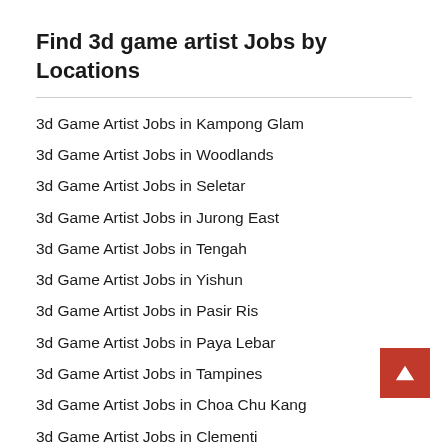Find 3d game artist Jobs by Locations
3d Game Artist Jobs in Kampong Glam
3d Game Artist Jobs in Woodlands
3d Game Artist Jobs in Seletar
3d Game Artist Jobs in Jurong East
3d Game Artist Jobs in Tengah
3d Game Artist Jobs in Yishun
3d Game Artist Jobs in Pasir Ris
3d Game Artist Jobs in Paya Lebar
3d Game Artist Jobs in Tampines
3d Game Artist Jobs in Choa Chu Kang
3d Game Artist Jobs in Clementi